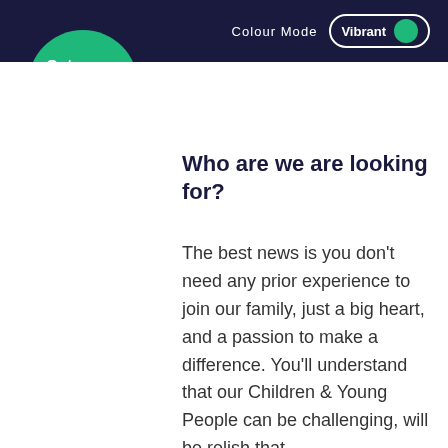Colour Mode  Vibrant
[Figure (logo): Outcomes First Group circular green logo with white text]
Who are we are looking for?
The best news is you don't need any prior experience to join our family, just a big heart, and a passion to make a difference. You'll understand that our Children & Young People can be challenging, will be relish that